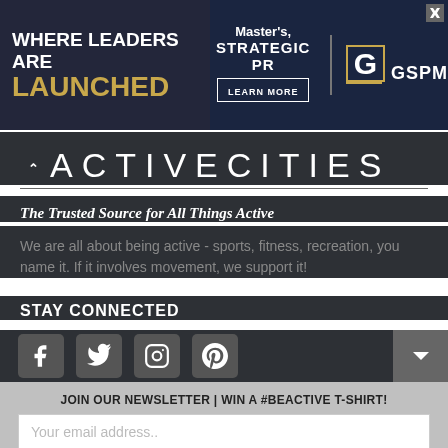[Figure (screenshot): Advertisement banner: 'WHERE LEADERS ARE LAUNCHED' with Master's Strategic PR, GW GSPM university advertisement]
ACTIVE CITIES
The Trusted Source for All Things Active
We are all about being active - sports, fitness, recreation, you name it. If it involves movement, we support it!
STAY CONNECTED
[Figure (illustration): Social media icons: Facebook, Twitter, Instagram, Pinterest]
JOIN OUR NEWSLETTER | WIN A #BEACTIVE T-SHIRT!
Your email address..
SUBSCRIBE